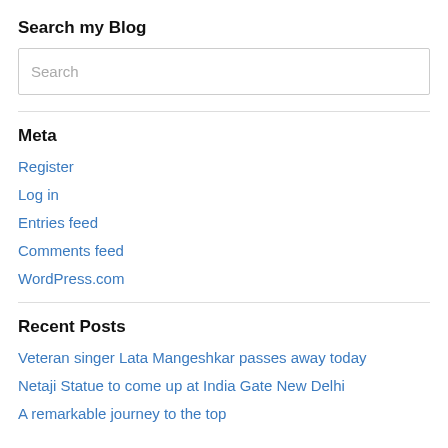Search my Blog
Search
Meta
Register
Log in
Entries feed
Comments feed
WordPress.com
Recent Posts
Veteran singer Lata Mangeshkar passes away today
Netaji Statue to come up at India Gate New Delhi
A remarkable journey to the top